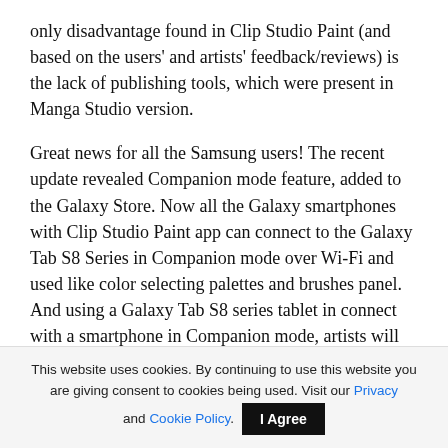only disadvantage found in Clip Studio Paint (and based on the users' and artists' feedback/reviews) is the lack of publishing tools, which were present in Manga Studio version.
Great news for all the Samsung users! The recent update revealed Companion mode feature, added to the Galaxy Store. Now all the Galaxy smartphones with Clip Studio Paint app can connect to the Galaxy Tab S8 Series in Companion mode over Wi-Fi and used like color selecting palettes and brushes panel. And using a Galaxy Tab S8 series tablet in connect with a smartphone in Companion mode, artists will receive more creative output,
This website uses cookies. By continuing to use this website you are giving consent to cookies being used. Visit our Privacy and Cookie Policy. I Agree